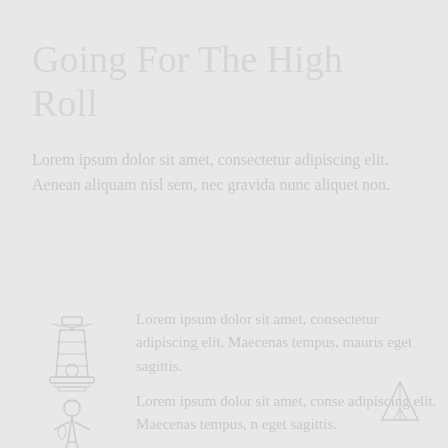Going For The High Roll
Lorem ipsum dolor sit amet, consectetur adipiscing elit. Aenean aliquam nisl sem, nec gravida nunc aliquet non.
[Figure (illustration): Faint outline illustration of a lighthouse or tower structure]
Lorem ipsum dolor sit amet, consectetur adipiscing elit. Maecenas tempus, mauris eget sagittis.
[Figure (illustration): Faint outline illustration of a person or character figure]
Lorem ipsum dolor sit amet, conse adipiscing elit. Maecenas tempus, n eget sagittis.
[Figure (illustration): Faint outline illustration of a tent or triangular shape in bottom right corner]